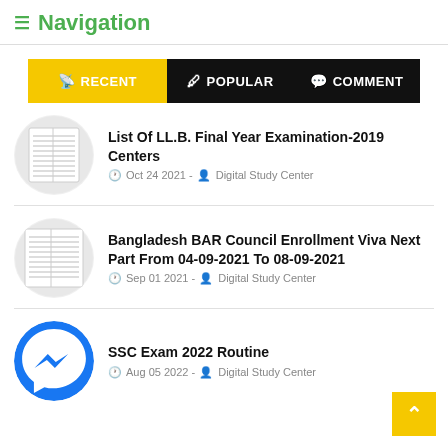≡ Navigation
RECENT | POPULAR | COMMENT
List Of LL.B. Final Year Examination-2019 Centers
Oct 24 2021 - Digital Study Center
Bangladesh BAR Council Enrollment Viva Next Part From 04-09-2021 To 08-09-2021
Sep 01 2021 - Digital Study Center
SSC Exam 2022 Routine
Aug 05 2022 - Digital Study Center